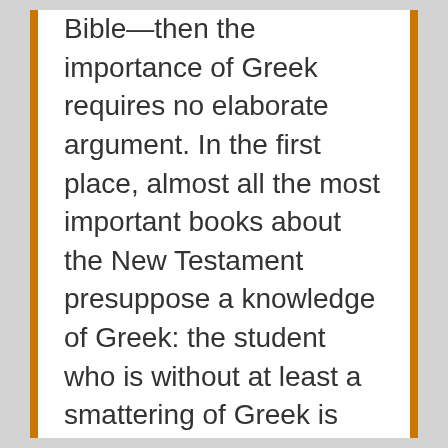Bible—then the importance of Greek requires no elaborate argument. In the first place, almost all the most important books about the New Testament presuppose a knowledge of Greek: the student who is without at least a smattering of Greek is obliged to use for the most part works that are written, figuratively speaking, in words of one syllable. In the second place, such a student cannot deal with all the problems at